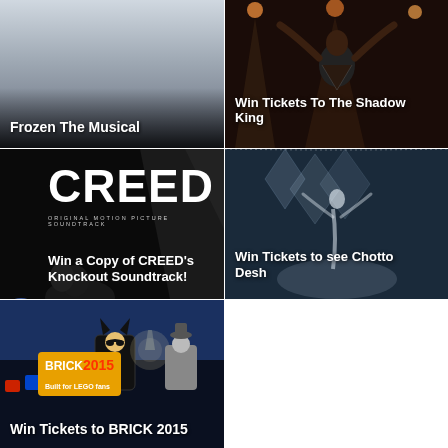[Figure (photo): Frozen The Musical promotional image with white/grey background and gradient overlay with text label]
[Figure (photo): Win Tickets To The Shadow King - performer on stage with arms raised]
[Figure (photo): Win a Copy of CREED's Knockout Soundtrack - CREED movie soundtrack promotional image with Facebook, Twitter, WhatsApp social icons]
[Figure (photo): Win Tickets to see Chotto Desh - dancer in blue/white smoky light]
[Figure (photo): Win Tickets to BRICK 2015 - LEGO exhibition promotional image with Batman and BRICK 2015 Built for LEGO fans badge]